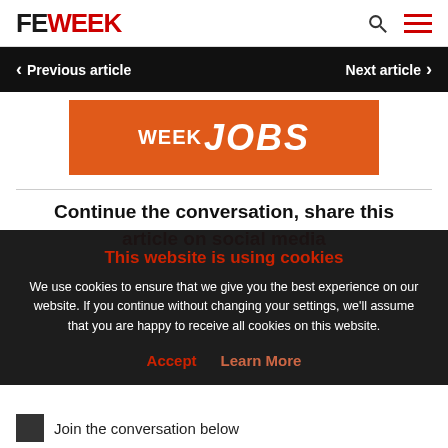FE WEEK
Previous article
Next article
[Figure (logo): FE WEEK JOBS banner in orange with white bold italic text]
Continue the conversation, share this article on social media
This website is using cookies
We use cookies to ensure that we give you the best experience on our website. If you continue without changing your settings, we'll assume that you are happy to receive all cookies on this website.
Accept  Learn More
Join the conversation below